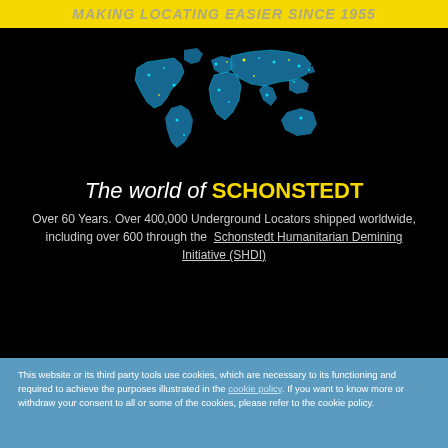Making Locating Easier Since 1955
[Figure (illustration): Blue glowing world map on black background showing continents with bright blue/cyan dots]
The world of SCHONSTEDT
Over 60 Years. Over 400,000 Underground Locators shipped worldwide, including over 600 through the Schonstedt Humanitarian Demining Initiative (SHDI)
This website or its third party tools use cookies, which are necessary to its functioning and required to achieve the purposes illustrated in the cookie policy. If you want to know more or withdraw your consent to all or some of the cookies, please refer to the cookie policy.
I accept!